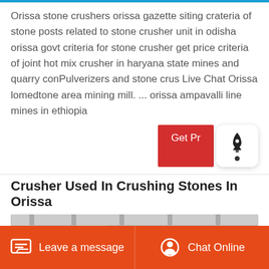Orissa stone crushers orissa gazette siting crateria of stone posts related to stone crusher unit in odisha orissa govt criteria for stone crusher get price criteria of joint hot mix crusher in haryana state mines and quarry conPulverizers and stone crus Live Chat Orissa lomedtone area mining mill. ... orissa ampavalli line mines in ethiopia
[Figure (screenshot): Partially visible red 'Get Price' button with a white rocket icon widget overlapping it on the right]
Crusher Used In Crushing Stones In Orissa
[Figure (photo): Interior of an industrial factory/crusher facility with machinery and metal structures]
Leave a message   Chat Online